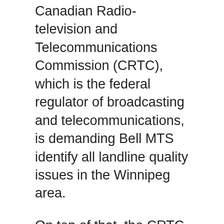Canadian Radio-television and Telecommunications Commission (CRTC), which is the federal regulator of broadcasting and telecommunications, is demanding Bell MTS identify all landline quality issues in the Winnipeg area.
On top of that, the CRTC is requiring Bell MTS to provide a plan to resolve the problem, along with a timeline.
“These issues and outages are impacting their ability to contact 9-1-1 and essential services. Moreover, residents have been complaining of poor customer service, missed appointments, and that Bell MTS has failed to respond to service outages in a timely manner. Many of the